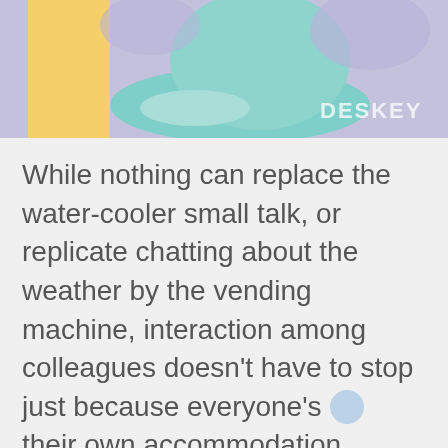[Figure (illustration): Colorful flat illustration showing a person at a desk/workspace with purple, teal, and yellow shapes. 'DESKEY' watermark visible in bottom right corner.]
While nothing can replace the water-cooler small talk, or replicate chatting about the weather by the vending machine, interaction among colleagues doesn't have to stop just because everyone's in their own accommodation.
In fact, the virtual webspace can create more meaningful dialogue among staff. In the last hour of a workday, employees can share something that means a lot to them. It can be something personal, like why their new